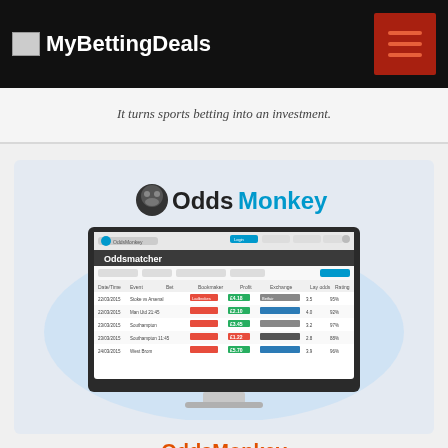MyBettingDeals
It turns sports betting into an investment.
[Figure (screenshot): OddsMonkey website screenshot showing the OddsMonkey logo and the Oddsmatcher tool interface displayed on a desktop monitor]
OddsMonkey
OddsMonkey offers matched betting services with features to enhance your profits with the best betting offers.